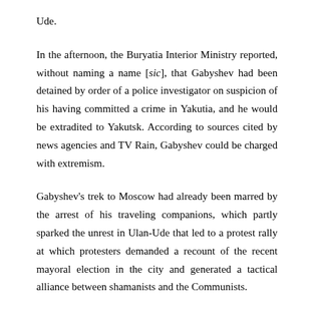Ude.
In the afternoon, the Buryatia Interior Ministry reported, without naming a name [sic], that Gabyshev had been detained by order of a police investigator on suspicion of his having committed a crime in Yakutia, and he would be extradited to Yakutsk. According to sources cited by news agencies and TV Rain, Gabyshev could be charged with extremism.
Gabyshev's trek to Moscow had already been marred by the arrest of his traveling companions, which partly sparked the unrest in Ulan-Ude that led to a protest rally at which protesters demanded a recount of the recent mayoral election in the city and generated a tactical alliance between shamanists and the Communists.